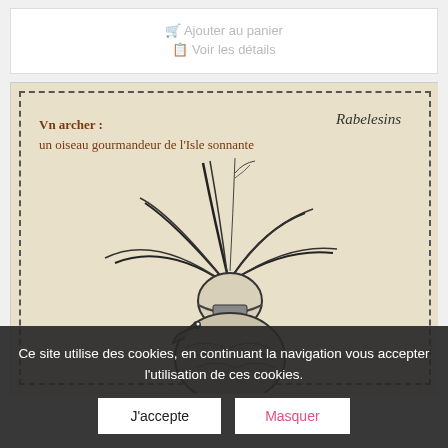🛒 Ajouter au panier
📋 Voir les détails
[Figure (illustration): Old book illustration showing a bird (archer / gourmandeur de l'isle sonnante) with large feathers/plumes emerging from a helmet, in a vintage etching style. Text reads 'Vn archer : un oiseau gourmandeur de l'isle sonnante' and 'Rabelesins' in script.]
Ce site utilise des cookies, en continuant la navigation vous accepter l'utilisation de ces cookies.
J'accepte
Masquer